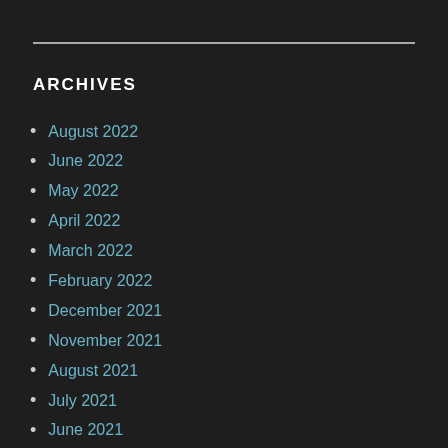ARCHIVES
August 2022
June 2022
May 2022
April 2022
March 2022
February 2022
December 2021
November 2021
August 2021
July 2021
June 2021
May 2021